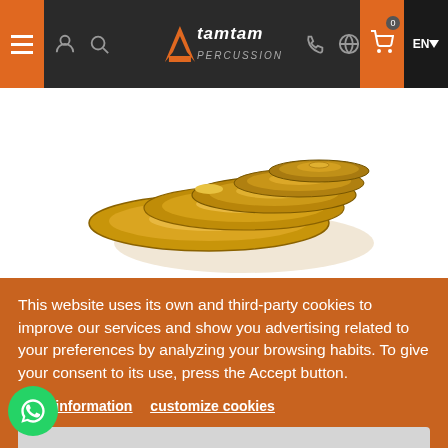TamTam Percussion — Navigation bar with hamburger menu, user icon, search icon, logo, phone, whatsapp, cart (0), language selector EN
[Figure (photo): Stack of brass/gold cymbals (Amedia brand) arranged from largest to smallest, photographed on white background]
This website uses its own and third-party cookies to improve our services and show you advertising related to your preferences by analyzing your browsing habits. To give your consent to its use, press the Accept button.
More information   customize cookies
I ACCEPT
385,00 €
DELIVERED BY MONDAY, 5TH SEPTEMBER